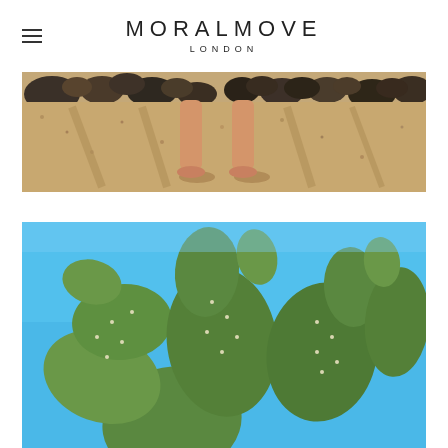MORALMOVE LONDON
[Figure (photo): Close-up of bare feet and legs standing on sandy gravel ground with dark rocks in the background, desert scene with strong shadows]
[Figure (photo): Prickly pear cactus with large paddle-shaped leaves photographed from below against a clear bright blue sky]